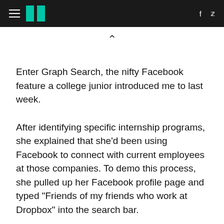HuffPost navigation header with hamburger menu, logo, Facebook and Twitter icons
Enter Graph Search, the nifty Facebook feature a college junior introduced me to last week.
After identifying specific internship programs, she explained that she'd been using Facebook to connect with current employees at those companies. To demo this process, she pulled up her Facebook profile page and typed "Friends of my friends who work at Dropbox" into the search bar.